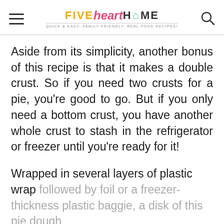FIVE heart HOME — QUICK & EASY, FAMILY FRIENDLY, REAL FOOD RECIPES!
Aside from its simplicity, another bonus of this recipe is that it makes a double crust. So if you need two crusts for a pie, you're good to go. But if you only need a bottom crust, you have another whole crust to stash in the refrigerator or freezer until you're ready for it!
Wrapped in several layers of plastic wrap followed by foil or a freezer-thickness plastic baggie, a disk of this pie dough